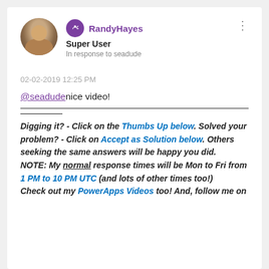RandyHayes
Super User
In response to seadude
02-02-2019 12:25 PM
@seadude nice video!
Digging it? - Click on the Thumbs Up below. Solved your problem? - Click on Accept as Solution below. Others seeking the same answers will be happy you did.
NOTE: My normal response times will be Mon to Fri from 1 PM to 10 PM UTC (and lots of other times too!)
Check out my PowerApps Videos too! And, follow me on